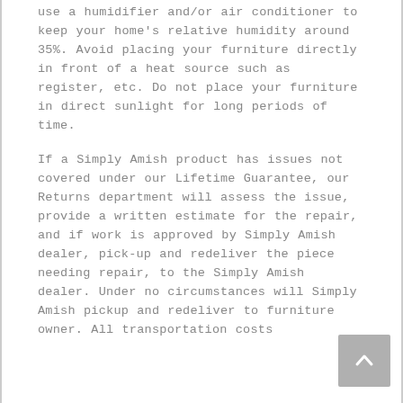use a humidifier and/or air conditioner to keep your home's relative humidity around 35%. Avoid placing your furniture directly in front of a heat source such as register, etc. Do not place your furniture in direct sunlight for long periods of time.
If a Simply Amish product has issues not covered under our Lifetime Guarantee, our Returns department will assess the issue, provide a written estimate for the repair, and if work is approved by Simply Amish dealer, pick-up and redeliver the piece needing repair, to the Simply Amish dealer. Under no circumstances will Simply Amish pickup and redeliver to furniture owner. All transportation costs